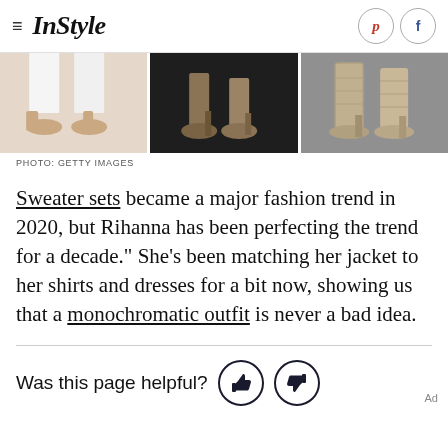InStyle
[Figure (photo): Three-panel photo strip showing close-up shots of heeled shoes/boots worn by Rihanna]
PHOTO: GETTY IMAGES
Sweater sets became a major fashion trend in 2020, but Rihanna has been perfecting the trend for a decade." She's been matching her jacket to her shirts and dresses for a bit now, showing us that a monochromatic outfit is never a bad idea.
Was this page helpful?